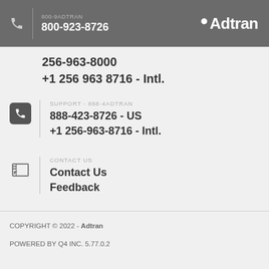800-9ADTRAN 800-923-8726 Adtran
256-963-8000
+1 256 963 8716 - Intl.
SUPPORT - 888-4ADTRAN
888-423-8726 - US
+1 256-963-8716 - Intl.
CONTACT US
Contact Us
Feedback
COPYRIGHT © 2022 - Adtran
POWERED BY Q4 INC. 5.77.0.2